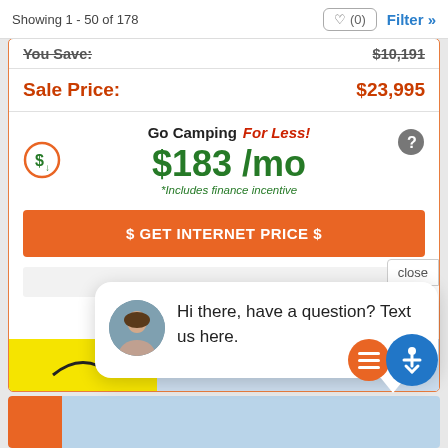Showing 1 - 50 of 178
You Save:  $10,191
Sale Price:  $23,995
Go Camping For Less! $183 /mo *Includes finance incentive
$ GET INTERNET PRICE $
close
Hi there, have a question? Text us here.